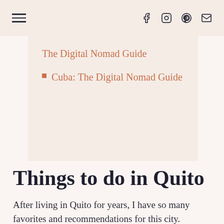Navigation bar with hamburger menu and social icons (Facebook, Instagram, Pinterest, Email)
The Digital Nomad Guide
Cuba: The Digital Nomad Guide
Things to do in Quito
After living in Quito for years, I have so many favorites and recommendations for this city.